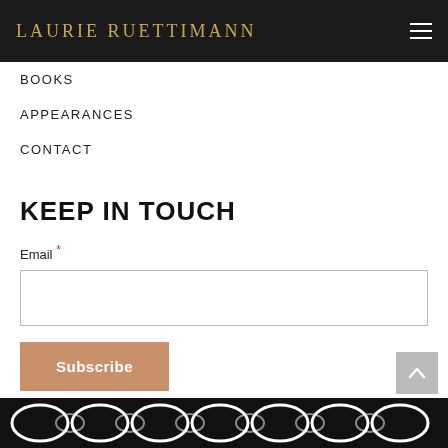LAURIE RUETTIMANN
BOOKS
APPEARANCES
CONTACT
KEEP IN TOUCH
Email *
[Figure (other): Email input text field (empty)]
[Figure (other): Subscribe button in tan/golden color]
[Figure (other): Back to top arrow button (light gray square with upward arrow)]
[Figure (other): Footer strip with decorative black and white pattern]